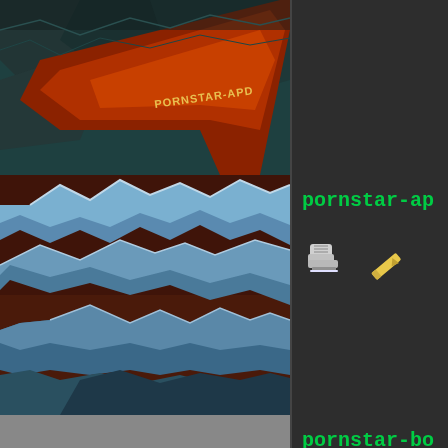[Figure (screenshot): Partial game screenshot showing orange/red surface with 'PORNSTAR-APD' text, dark teal rocky background]
[Figure (screenshot): Game map screenshot showing jagged blue-white ice/rock formations on dark red background]
pornstar-ap
[Figure (illustration): Ice skate icon and pencil/tool icon]
[Figure (screenshot): Game map screenshot with red and dark geometric block structures on grey surface]
pornstar-bo